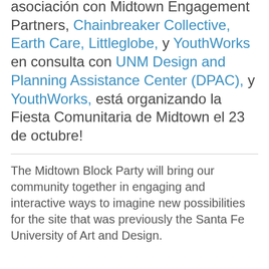asociación con Midtown Engagement Partners, Chainbreaker Collective, Earth Care, Littleglobe, y YouthWorks en consulta con UNM Design and Planning Assistance Center (DPAC), y YouthWorks, está organizando la Fiesta Comunitaria de Midtown el 23 de octubre!
The Midtown Block Party will bring our community together in engaging and interactive ways to imagine new possibilities for the site that was previously the Santa Fe University of Art and Design.